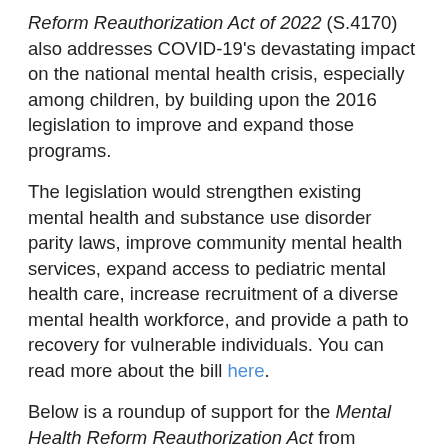Reform Reauthorization Act of 2022 (S.4170) also addresses COVID-19's devastating impact on the national mental health crisis, especially among children, by building upon the 2016 legislation to improve and expand those programs.
The legislation would strengthen existing mental health and substance use disorder parity laws, improve community mental health services, expand access to pediatric mental health care, increase recruitment of a diverse mental health workforce, and provide a path to recovery for vulnerable individuals. You can read more about the bill here.
Below is a roundup of support for the Mental Health Reform Reauthorization Act from providers, non-profits, and advocacy organizations:
“This bill simply could not come at a more critical